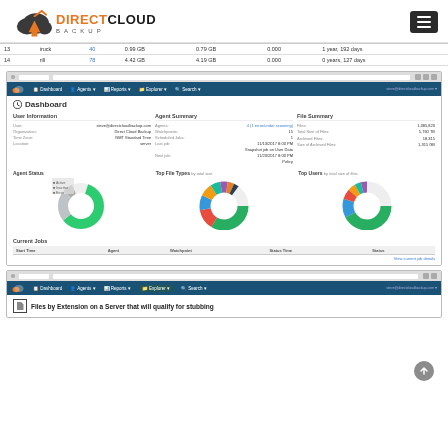DirectCloud Backup logo and menu button
| # | name | ID | 0.99 GB | 0.79 GB | 0.000 | 1 year, 192 days |
| --- | --- | --- | --- | --- | --- | --- |
| 13 | iruck | 40 | 0.99 GB | 0.79 GB | 0.000 | 1 year, 192 days |
| 14 | rill | 78 | 4.42 GB | 4.19 GB | 0.000 | 0 years, 127 days |
[Figure (screenshot): Screenshot of DirectCloud Backup dashboard in browser showing User Information, Agent Summary, File Summary sections plus Agent Status donut chart, Top File Types donut chart, Top Users donut chart, and Current Jobs table]
[Figure (screenshot): Partial screenshot of DirectCloud Backup interface showing Files by Extensions on a Server page beginning]